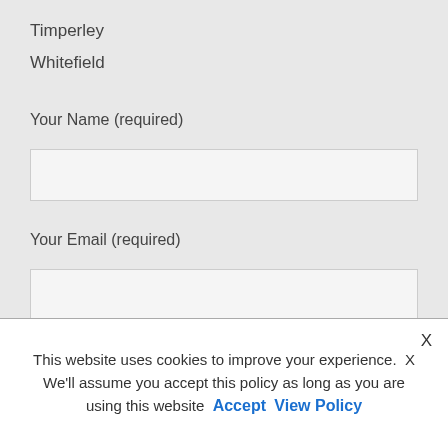Timperley
Whitefield
Your Name (required)
[Figure (other): Text input field for Your Name]
Your Email (required)
[Figure (other): Text input field for Your Email]
Your Phone Number (required)
[Figure (other): Text input field for Your Phone Number (partially visible)]
This website uses cookies to improve your experience.  X
We'll assume you accept this policy as long as you are
using this website  Accept  View Policy